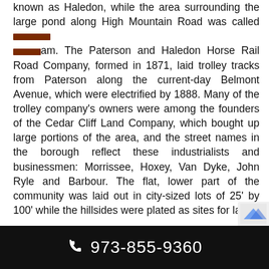known as Haledon, while the area surrounding the large pond along High Mountain Road was called [REDACTED]am. The Paterson and Haledon Horse Rail Road Company, formed in 1871, laid trolley tracks from Paterson along the current-day Belmont Avenue, which were electrified by 1888. Many of the trolley company's owners were among the founders of the Cedar Cliff Land Company, which bought up large portions of the area, and the street names in the borough reflect these industrialists and businessmen: Morrissee, Hoxey, Van Dyke, John Ryle and Barbour. The flat, lower part of the community was laid out in city-sized lots of 25' by 100' while the hillsides were plated as sites for larger Victorian "villas" for such individuals as Vice President Garret A. Hobart (now the location of William Paterson University) and the Barbour family of linen flax manufacturers.
973-855-9360